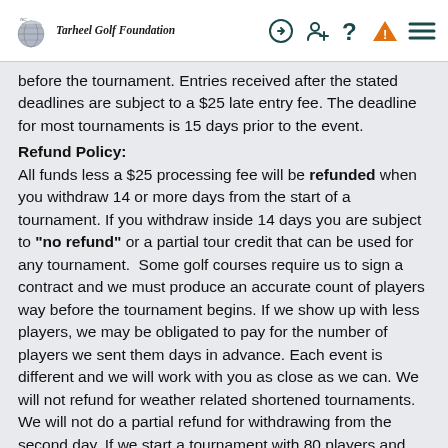Tarheel Golf Foundation [navigation icons]
before the tournament. Entries received after the stated deadlines are subject to a $25 late entry fee. The deadline for most tournaments is 15 days prior to the event.
Refund Policy:
All funds less a $25 processing fee will be refunded when you withdraw 14 or more days from the start of a tournament. If you withdraw inside 14 days you are subject to "no refund" or a partial tour credit that can be used for any tournament. Some golf courses require us to sign a contract and we must produce an accurate count of players way before the tournament begins. If we show up with less players, we may be obligated to pay for the number of players we sent them days in advance. Each event is different and we will work with you as close as we can. We will not refund for weather related shortened tournaments. We will not do a partial refund for withdrawing from the second day. If we start a tournament with 80 players and only seventy show up